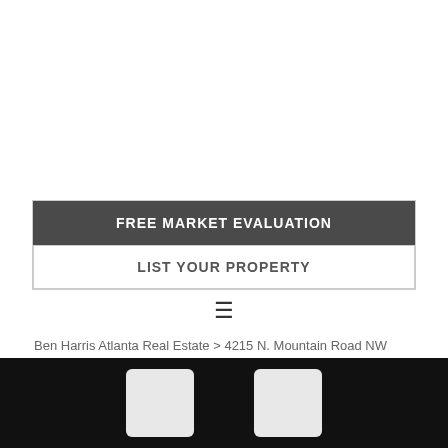FREE MARKET EVALUATION
LIST YOUR PROPERTY
[Figure (other): Hamburger menu icon (three horizontal lines)]
Ben Harris Atlanta Real Estate > 4215 N. Mountain Road NW Marietta, Ga. 30066 > 25
Footer bar with two icon placeholders